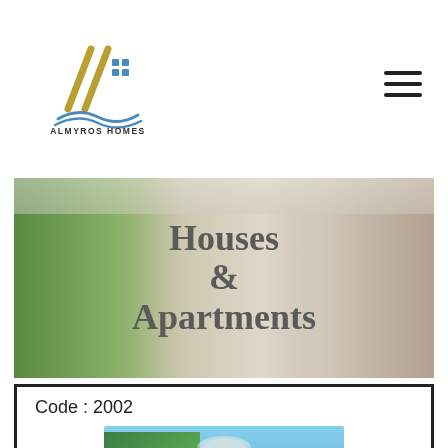[Figure (logo): Almyros Homes logo with diagonal lines and text]
[Figure (photo): Hero banner showing interior and exterior of modern home with text overlay 'Houses & Apartments']
Code : 2002
[Figure (photo): Blurred photo of a property with a swimming pool and greenery]
275,000 euro